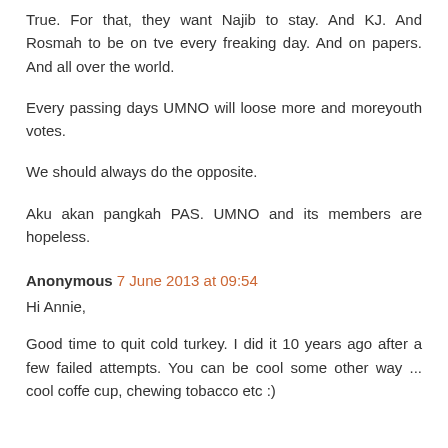True. For that, they want Najib to stay. And KJ. And Rosmah to be on tve every freaking day. And on papers. And all over the world.
Every passing days UMNO will loose more and moreyouth votes.
We should always do the opposite.
Aku akan pangkah PAS. UMNO and its members are hopeless.
Anonymous 7 June 2013 at 09:54
Hi Annie,
Good time to quit cold turkey. I did it 10 years ago after a few failed attempts. You can be cool some other way ... cool coffe cup, chewing tobacco etc :)